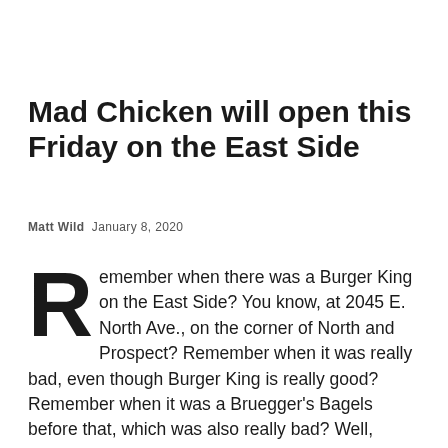Mad Chicken will open this Friday on the East Side
Matt Wild  January 8, 2020
Remember when there was a Burger King on the East Side? You know, at 2045 E. North Ave., on the corner of North and Prospect? Remember when it was really bad, even though Burger King is really good? Remember when it was a Bruegger’s Bagels before that, which was also really bad? Well, here’s hoping local-ish fast-food joint Mad Chicken can finally make